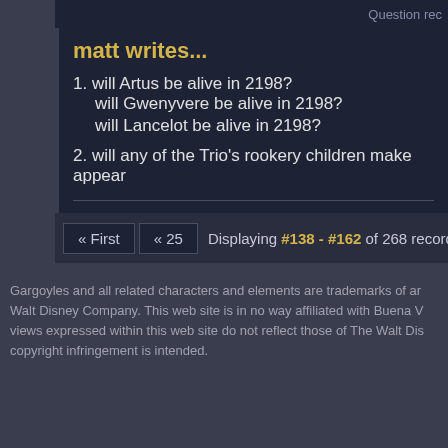Question rec
matt writes...
1. will Artus be alive in 2198?
will Gwenyvere be alive in 2198?
will Lancelot be alive in 2198?
2. will any of the Trio's rookery children make appear
Greg responds...
Not answering this now.
« First  « 25  Displaying #138 - #162 of 268 records.
Gargoyles and all related characters and elements are trademarks of ar Walt Disney Company. This web site is in no way affiliated with Buena V views expressed within this web site do not reflect those of The Walt Dis copyright infringement is intended.